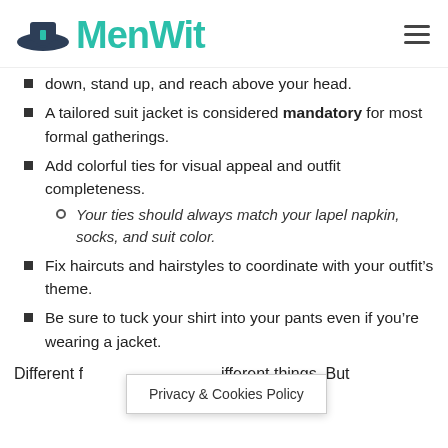MenWit
down, stand up, and reach above your head.
A tailored suit jacket is considered mandatory for most formal gatherings.
Add colorful ties for visual appeal and outfit completeness.
Your ties should always match your lapel napkin, socks, and suit color.
Fix haircuts and hairstyles to coordinate with your outfit’s theme.
Be sure to tuck your shirt into your pants even if you’re wearing a jacket.
Different f... ifferent things. But
Privacy & Cookies Policy